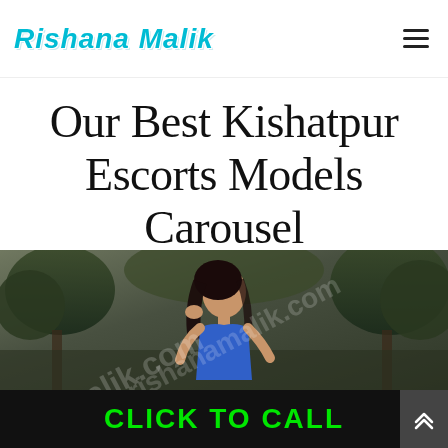Rishana Malik
Our Best Kishatpur Escorts Models Carousel
[Figure (photo): Young woman with long dark hair, wearing a blue top, posing outdoors with trees in the background. Watermark text 'rishanamalik.com' overlaid diagonally.]
CLICK TO CALL